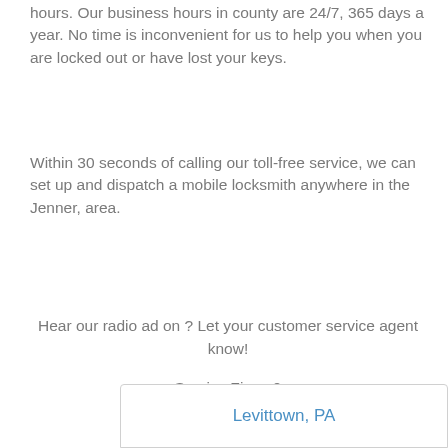hours. Our business hours in county are 24/7, 365 days a year. No time is inconvenient for us to help you when you are locked out or have lost your keys.
Within 30 seconds of calling our toll-free service, we can set up and dispatch a mobile locksmith anywhere in the Jenner, area.
Hear our radio ad on ? Let your customer service agent know!
Service Zips : 0
Dispatch -
Levittown, PA